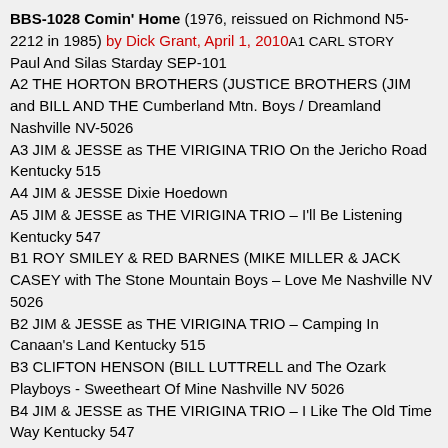BBS-1028 Comin' Home (1976, reissued on Richmond N5-2212 in 1985) by Dick Grant, April 1, 2010 A1 CARL STORY Paul And Silas Starday SEP-101
A2 THE HORTON BROTHERS (JUSTICE BROTHERS (JIM and BILL AND THE Cumberland Mtn. Boys / Dreamland Nashville NV-5026
A3 JIM & JESSE as THE VIRIGINA TRIO On the Jericho Road Kentucky 515
A4 JIM & JESSE Dixie Hoedown
A5 JIM & JESSE as THE VIRIGINA TRIO – I'll Be Listening Kentucky 547
B1 ROY SMILEY & RED BARNES (MIKE MILLER & JACK CASEY with The Stone Mountain Boys – Love Me Nashville NV 5026
B2 JIM & JESSE as THE VIRIGINA TRIO – Camping In Canaan's Land Kentucky 515
B3 CLIFTON HENSON (BILL LUTTRELL and The Ozark Playboys - Sweetheart Of Mine Nashville NV 5026
B4 JIM & JESSE as THE VIRIGINA TRIO – I Like The Old Time Way Kentucky 547
Capitol
H 9107 Country And Hillbilly (10") by Walter Gabriel, Jan. 18,